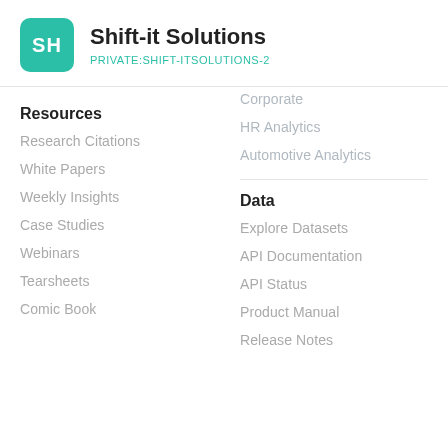Shift-it Solutions
PRIVATE:SHIFT-ITSOLUTIONS-2
Resources
Research Citations
White Papers
Weekly Insights
Case Studies
Webinars
Tearsheets
Comic Book
Corporate
HR Analytics
Automotive Analytics
Data
Explore Datasets
API Documentation
API Status
Product Manual
Release Notes